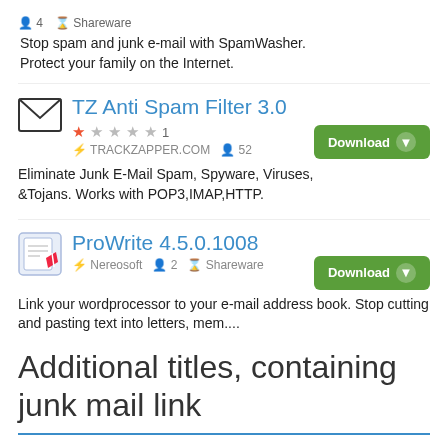4  Shareware
Stop spam and junk e-mail with SpamWasher. Protect your family on the Internet.
TZ Anti Spam Filter 3.0
★☆☆☆☆ 1  TRACKZAPPER.COM  52
Eliminate Junk E-Mail Spam, Spyware, Viruses, &Tojans. Works with POP3,IMAP,HTTP.
ProWrite 4.5.0.1008
Nereosoft  2  Shareware
Link your wordprocessor to your e-mail address book. Stop cutting and pasting text into letters, mem....
Additional titles, containing junk mail link